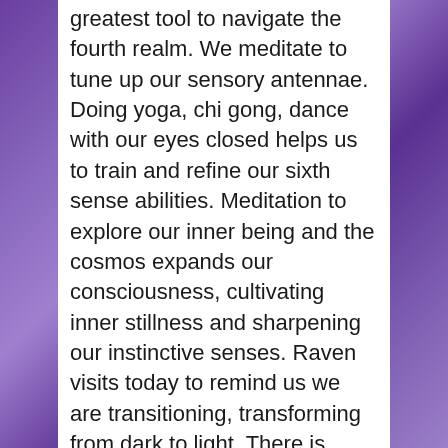greatest tool to navigate the fourth realm. We meditate to tune up our sensory antennae. Doing yoga, chi gong, dance with our eyes closed helps us to train and refine our sixth sense abilities. Meditation to explore our inner being and the cosmos expands our consciousness, cultivating inner stillness and sharpening our instinctive senses. Raven visits today to remind us we are transitioning, transforming from dark to light. There is magic all around us. Worry less, dream more! Let the universal magic of life float into your consciousness. Activate your third eye with focused intention mantras and meditation. Where we are going our third eye is waaaaay more important than our physical sight. Access and cultivate a relationship with your instincts, learn to trust energy over matter. Have dignity, courage and conviction. Stand up for and act upon your